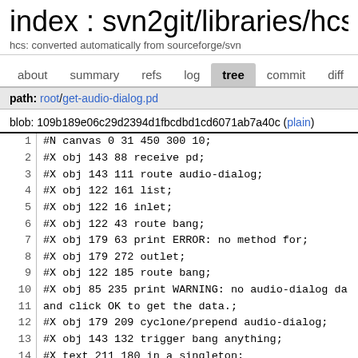index : svn2git/libraries/hcs.g
hcs: converted automatically from sourceforge/svn
about   summary   refs   log   tree   commit   diff   lo
path: root/get-audio-dialog.pd
blob: 109b189e06c29d2394d1fbcdbd1cd6071ab7a40c (plain)
| line | code |
| --- | --- |
| 1 | #N canvas 0 31 450 300 10; |
| 2 | #X obj 143 88 receive pd; |
| 3 | #X obj 143 111 route audio-dialog; |
| 4 | #X obj 122 161 list; |
| 5 | #X obj 122 16 inlet; |
| 6 | #X obj 122 43 route bang; |
| 7 | #X obj 179 63 print ERROR: no method for; |
| 8 | #X obj 179 272 outlet; |
| 9 | #X obj 122 185 route bang; |
| 10 | #X obj 85 235 print WARNING: no audio-dialog da |
| 11 | and click OK to get the data.; |
| 12 | #X obj 179 209 cyclone/prepend audio-dialog; |
| 13 | #X obj 143 132 trigger bang anything; |
| 14 | #X text 211 180 in a singleton; |
| 15 | #X text 159 160 <-- TODO this list should be gl |
| 16 | #X connect 0 0 1 0; |
| 17 | #X connect 1 0 10 0; |